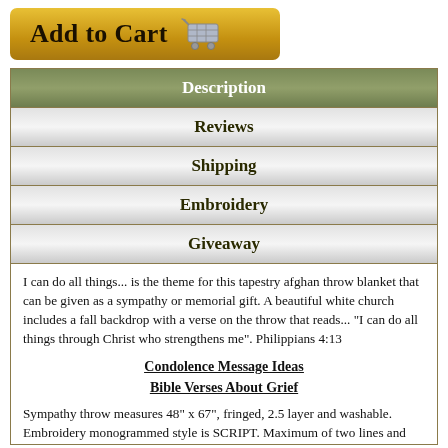[Figure (other): Gold gradient Add to Cart button with shopping cart icon]
| Description |
| Reviews |
| Shipping |
| Embroidery |
| Giveaway |
I can do all things... is the theme for this tapestry afghan throw blanket that can be given as a sympathy or memorial gift. A beautiful white church includes a fall backdrop with a verse on the throw that reads... "I can do all things through Christ who strengthens me". Philippians 4:13
Condolence Message Ideas
Bible Verses About Grief
Sympathy throw measures 48" x 67", fringed, 2.5 layer and washable. Embroidery monogrammed style is SCRIPT. Maximum of two lines and